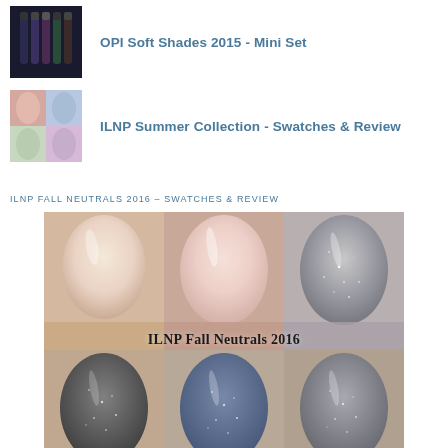[Figure (photo): Thumbnail of OPI nail polish bottles]
OPI Soft Shades 2015 - Mini Set
[Figure (photo): Thumbnail of ILNP nail polish swatches in multiple colors]
ILNP Summer Collection - Swatches & Review
ILNP FALL NEUTRALS 2016 – SWATCHES & REVIEW
[Figure (photo): Large photo grid showing 6 nail swatches from ILNP Fall Neutrals 2016 collection. Top row: pale cream/white holographic, light pink holographic, silver glitter. Bottom row: dark silver glitter, blue-grey glitter, silver-grey glitter. Overlay text reads 'ILNP Fall Neutrals 2016'.]